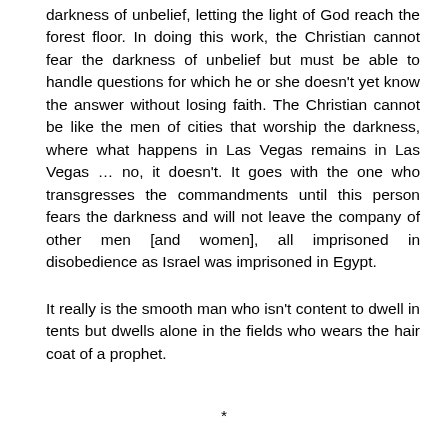darkness of unbelief, letting the light of God reach the forest floor. In doing this work, the Christian cannot fear the darkness of unbelief but must be able to handle questions for which he or she doesn't yet know the answer without losing faith. The Christian cannot be like the men of cities that worship the darkness, where what happens in Las Vegas remains in Las Vegas … no, it doesn't. It goes with the one who transgresses the commandments until this person fears the darkness and will not leave the company of other men [and women], all imprisoned in disobedience as Israel was imprisoned in Egypt.
It really is the smooth man who isn't content to dwell in tents but dwells alone in the fields who wears the hair coat of a prophet.
*